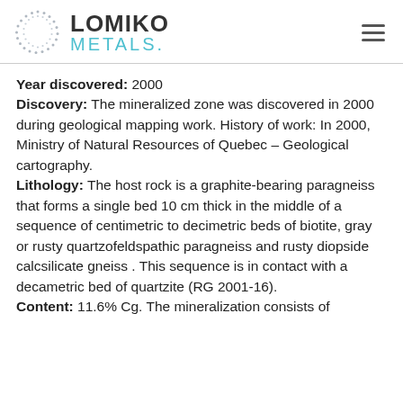Lomiko Metals
Year discovered: 2000
Discovery: The mineralized zone was discovered in 2000 during geological mapping work. History of work: In 2000, Ministry of Natural Resources of Quebec – Geological cartography.
Lithology: The host rock is a graphite-bearing paragneiss that forms a single bed 10 cm thick in the middle of a sequence of centimetric to decimetric beds of biotite, gray or rusty quartzofeldspathic paragneiss and rusty diopside calcsilicate gneiss . This sequence is in contact with a decametric bed of quartzite (RG 2001-16).
Content: 11.6% Cg. The mineralization consists of